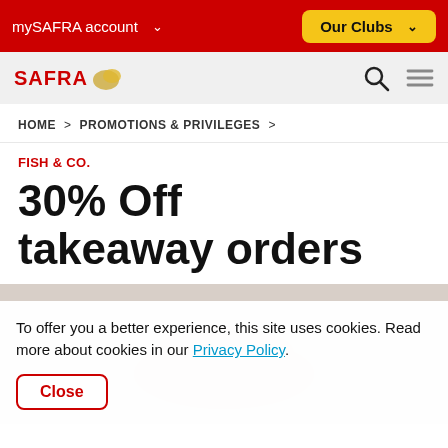mySAFRA account   Our Clubs
[Figure (logo): SAFRA logo with decorative icon]
HOME > PROMOTIONS & PRIVILEGES >
FISH & CO.
30% Off takeaway orders
To offer you a better experience, this site uses cookies. Read more about cookies in our Privacy Policy. Close